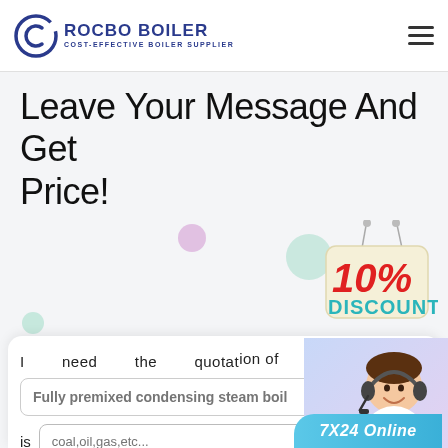[Figure (logo): Rocbo Boiler logo with circular C icon and text 'ROCBO BOILER / COST-EFFECTIVE BOILER SUPPLIER' in dark blue]
Leave Your Message And Get Price!
[Figure (illustration): 10% DISCOUNT badge in red and teal on cream background, hung by a string]
I need the quotation of
Fully premixed condensing steam boil
is coal,oil,gas,etc..., this
eg:5ton/h or 5mw
[Figure (photo): Customer service representative wearing headset, smiling]
7X24 Online